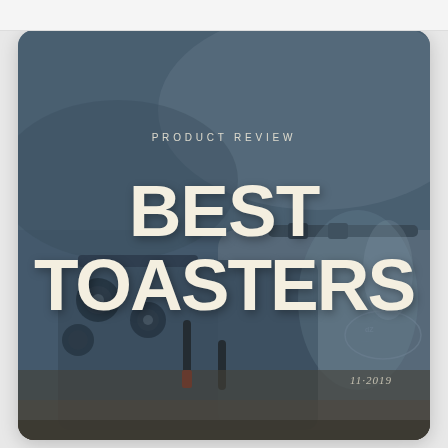[Figure (photo): Product review cover page showing a row of vintage-style chrome toasters in close-up, with a blue-grey tinted overlay. Text overlaid reads 'PRODUCT REVIEW' in small caps and 'BEST TOASTERS' in large bold white letters. Date '11·2019' appears in the lower right.]
PRODUCT REVIEW
BEST TOASTERS
11·2019